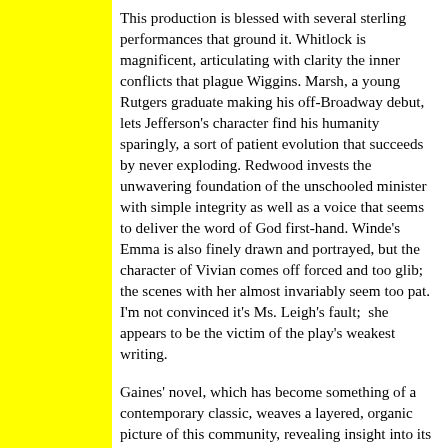This production is blessed with several sterling performances that ground it. Whitlock is magnificent, articulating with clarity the inner conflicts that plague Wiggins. Marsh, a young Rutgers graduate making his off-Broadway debut, lets Jefferson's character find his humanity sparingly, a sort of patient evolution that succeeds by never exploding. Redwood invests the unwavering foundation of the unschooled minister with simple integrity as well as a voice that seems to deliver the word of God first-hand. Winde's Emma is also finely drawn and portrayed, but the character of Vivian comes off forced and too glib; the scenes with her almost invariably seem too pat. I'm not convinced it's Ms. Leigh's fault;  she appears to be the victim of the play's weakest writing.
Gaines' novel, which has become something of a contemporary classic, weaves a layered, organic picture of this community, revealing insight into its central story as well as an intricate understanding of the forces against which it develops. It's an achievement that the play does not -- and perhaps could not-- match.